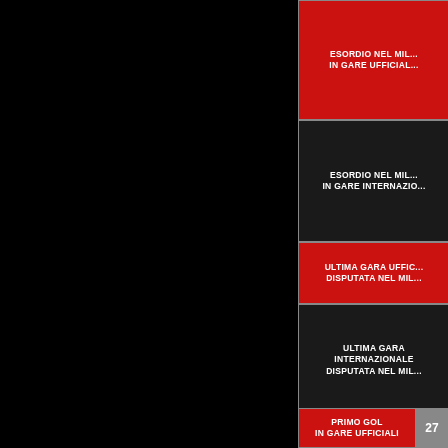ESORDIO NEL MILAN IN GARE UFFICIALI
ESORDIO NEL MILAN IN GARE INTERNAZIONALI
ULTIMA GARA UFFICIALE DISPUTATA NEL MILAN
ULTIMA GARA INTERNAZIONALE DISPUTATA NEL MILAN
PRIMO GOL IN GARE UFFICIALI
27